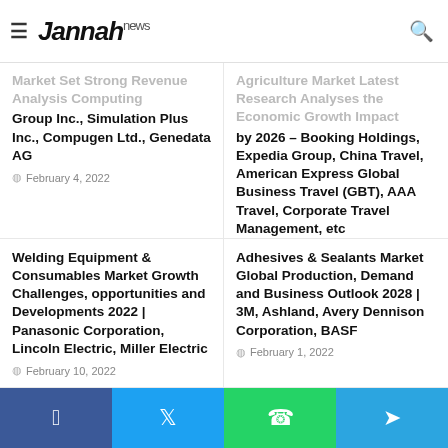Jannah news
Market Set Strong Revenue Analysis Computing Group Inc., Simulation Plus Inc., Compugen Ltd., Genedata AG
February 4, 2022
Agriculture Market Latest Research Analyses the Economic Growth Impact by 2026 – Booking Holdings, Expedia Group, China Travel, American Express Global Business Travel (GBT), AAA Travel, Corporate Travel Management, etc
February 5, 2022
Welding Equipment & Consumables Market Growth Challenges, opportunities and Developments 2022 | Panasonic Corporation, Lincoln Electric, Miller Electric
February 10, 2022
Adhesives & Sealants Market Global Production, Demand and Business Outlook 2028 | 3M, Ashland, Avery Dennison Corporation, BASF
February 1, 2022